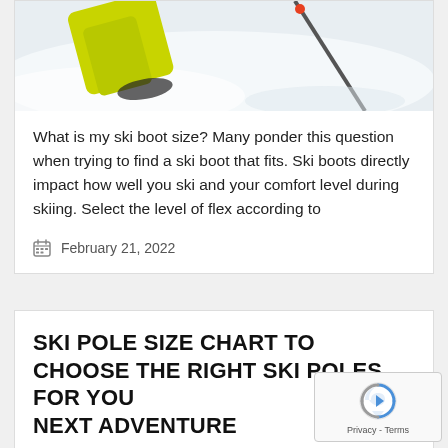[Figure (photo): Skier in yellow pants on snowy slope, close-up action shot]
What is my ski boot size? Many ponder this question when trying to find a ski boot that fits. Ski boots directly impact how well you ski and your comfort level during skiing. Select the level of flex according to
February 21, 2022
SKI POLE SIZE CHART TO CHOOSE THE RIGHT SKI POLES FOR YOUR NEXT ADVENTURE